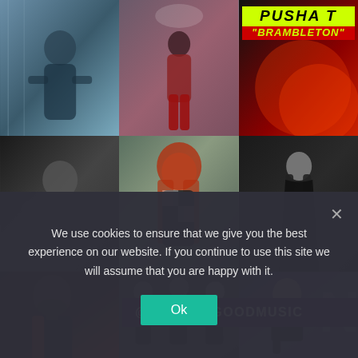[Figure (photo): A 3x3 grid of celebrity/music photos. Top row: person in blue/teal outfit leaning, person in red outfit on stage, Pusha T 'Brambleton' album/promo graphic with yellow-green and red text. Middle row: black and white photo of muscular man sitting cross-armed, woman with long red hair in checkered/mesh outfit, black and white photo of woman in long dress. Bottom row (partially visible): man with tattoos and beard in red/black jacket, group of women in black outfits, woman in black strapless dress. A dark purple banner overlay reads '@WEPLUGGOODMUSIC'.]
We use cookies to ensure that we give you the best experience on our website. If you continue to use this site we will assume that you are happy with it.